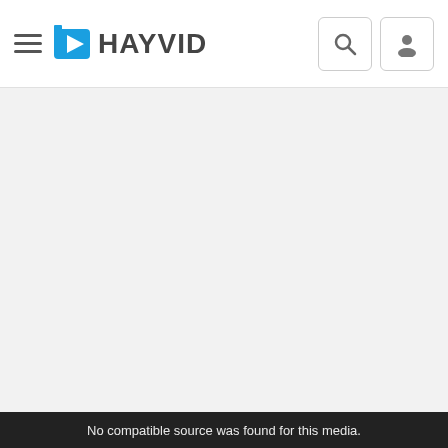[Figure (logo): Hayvid logo with blue play button icon and stylized bold text 'HAYVID']
No compatible source was found for this media.